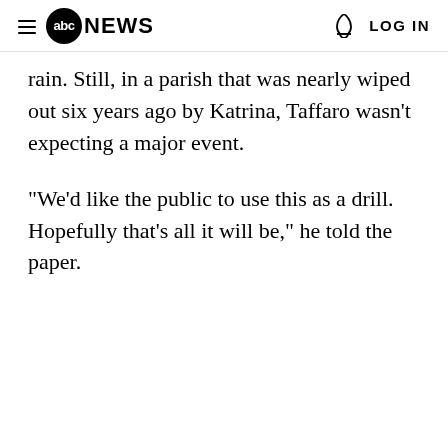abc NEWS  LOG IN
rain. Still, in a parish that was nearly wiped out six years ago by Katrina, Taffaro wasn't expecting a major event.
"We'd like the public to use this as a drill. Hopefully that's all it will be," he told the paper.